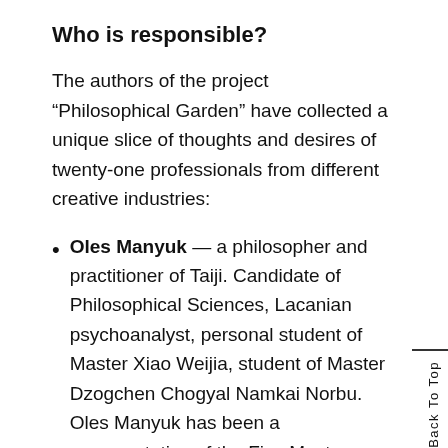Who is responsible?
The authors of the project “Philosophical Garden” have collected a unique slice of thoughts and desires of twenty-one professionals from different creative industries:
Oles Manyuk — a philosopher and practitioner of Taiji. Candidate of Philosophical Sciences, Lacanian psychoanalyst, personal student of Master Xiao Weijia, student of Master Dzogchen Chogyal Namkai Norbu. Oles Manyuk has been a representative of the Five Masters School of Traditional Chinese...